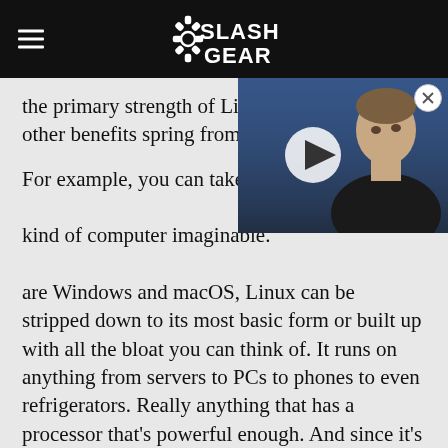SlashGear
the primary strength of Linux from which all other benefits spring from.

For example, you can take Linux and install it on almost any kind of computer imaginable. Unlike its competitors, which are Windows and macOS, Linux can be stripped down to its most basic form or built up with all the bloat you can think of. It runs on anything from servers to PCs to phones to even refrigerators. Really anything that has a processor that's powerful enough. And since it's not beholden to any single company, its existence likewise isn't beholden to fluctuating profits or whimsical shareholders.
[Figure (photo): Video thumbnail showing a man (Elon Musk) against a blue background with a play button overlay]